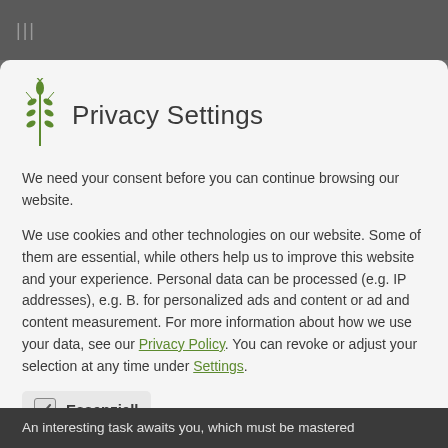|||
Privacy Settings
We need your consent before you can continue browsing our website.
We use cookies and other technologies on our website. Some of them are essential, while others help us to improve this website and your experience. Personal data can be processed (e.g. IP addresses), e.g. B. for personalized ads and content or ad and content measurement. For more information about how we use your data, see our Privacy Policy. You can revoke or adjust your selection at any time under Settings.
Essenziell
Essenzielle Cookies ermöglichen grundlegende Funktionen und sind für die einwandfreie Funktion der Website erforderlich.
An interesting task awaits you, which must be mastered